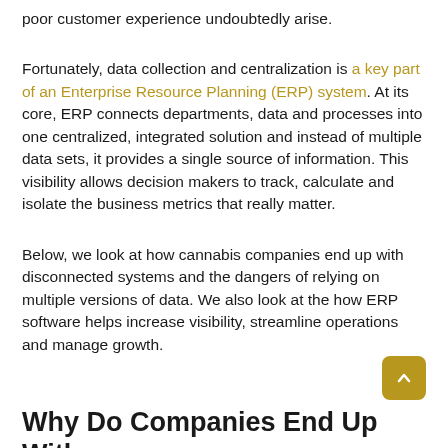poor customer experience undoubtedly arise.
Fortunately, data collection and centralization is a key part of an Enterprise Resource Planning (ERP) system. At its core, ERP connects departments, data and processes into one centralized, integrated solution and instead of multiple data sets, it provides a single source of information. This visibility allows decision makers to track, calculate and isolate the business metrics that really matter.
Below, we look at how cannabis companies end up with disconnected systems and the dangers of relying on multiple versions of data. We also look at the how ERP software helps increase visibility, streamline operations and manage growth.
Why Do Companies End Up With